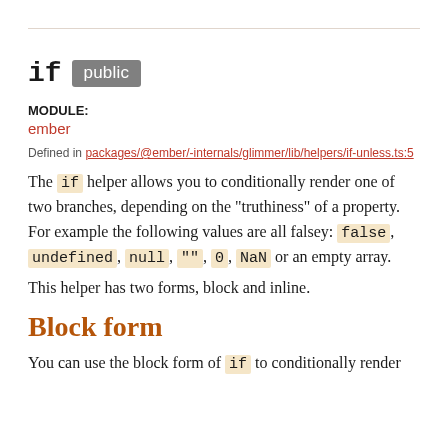if public
MODULE:
ember
Defined in packages/@ember/-internals/glimmer/lib/helpers/if-unless.ts:5
The if helper allows you to conditionally render one of two branches, depending on the "truthiness" of a property. For example the following values are all falsey: false, undefined, null, "", 0, NaN or an empty array.
This helper has two forms, block and inline.
Block form
You can use the block form of if to conditionally render